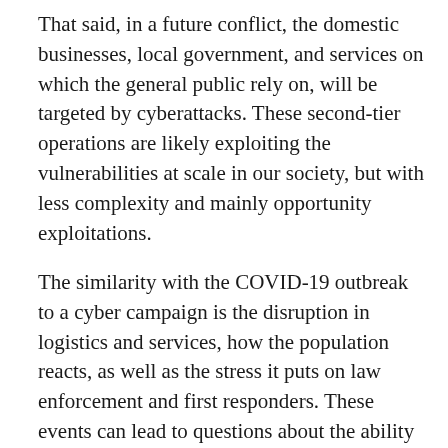That said, in a future conflict, the domestic businesses, local government, and services on which the general public rely on, will be targeted by cyberattacks. These second-tier operations are likely exploiting the vulnerabilities at scale in our society, but with less complexity and mainly opportunity exploitations.
The similarity with the COVID-19 outbreak to a cyber campaign is the disruption in logistics and services, how the population reacts, as well as the stress it puts on law enforcement and first responders. These events can lead to questions about the ability to maintain law and order and the ability to prevent destabilization